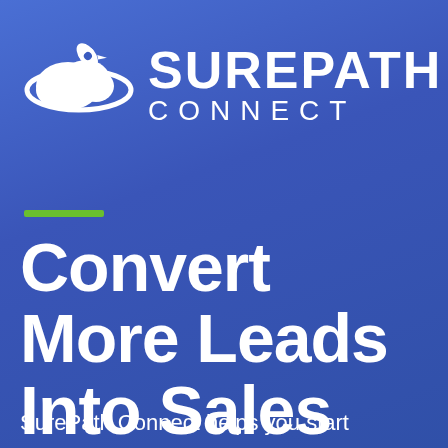[Figure (logo): SurePath Connect logo with rocket/cloud icon on left and SUREPATH CONNECT text on right, white on blue background]
Convert More Leads Into Sales
SurePath Connect helps you start